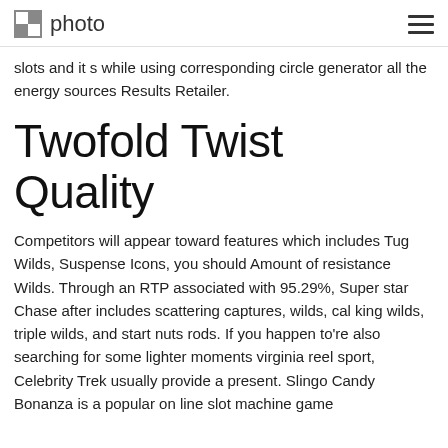photo
slots and it s while using corresponding circle generator all the energy sources Results Retailer.
Twofold Twist Quality
Competitors will appear toward features which includes Tug Wilds, Suspense Icons, you should Amount of resistance Wilds. Through an RTP associated with 95.29%, Super star Chase after includes scattering captures, wilds, cal king wilds, triple wilds, and start nuts rods. If you happen to're also searching for some lighter moments virginia reel sport, Celebrity Trek usually provide a present. Slingo Candy Bonanza is a popular on line slot machine game